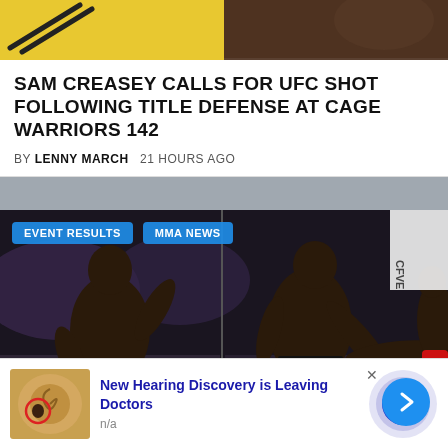[Figure (photo): Top banner with yellow and dark background images]
SAM CREASEY CALLS FOR UFC SHOT FOLLOWING TITLE DEFENSE AT CAGE WARRIORS 142
BY LENNY MARCH  21 HOURS AGO
[Figure (photo): MMA fighters in action with EVENT RESULTS and MMA NEWS tags, arrow button on right]
[Figure (photo): Advertisement: New Hearing Discovery is Leaving Doctors, n/a, with arrow button]